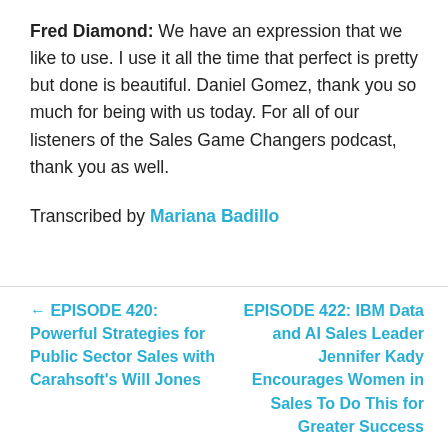Fred Diamond: We have an expression that we like to use. I use it all the time that perfect is pretty but done is beautiful. Daniel Gomez, thank you so much for being with us today. For all of our listeners of the Sales Game Changers podcast, thank you as well.
Transcribed by Mariana Badillo
← EPISODE 420: Powerful Strategies for Public Sector Sales with Carahsoft's Will Jones
EPISODE 422: IBM Data and AI Sales Leader Jennifer Kady Encourages Women in Sales To Do This for Greater Success